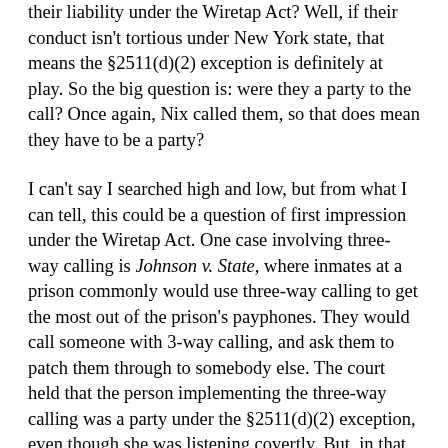their liability under the Wiretap Act? Well, if their conduct isn't tortious under New York state, that means the §2511(d)(2) exception is definitely at play. So the big question is: were they a party to the call? Once again, Nix called them, so that does mean they have to be a party?
I can't say I searched high and low, but from what I can tell, this could be a question of first impression under the Wiretap Act. One case involving three-way calling is Johnson v. State, where inmates at a prison commonly would use three-way calling to get the most out of the prison's payphones. They would call someone with 3-way calling, and ask them to patch them through to somebody else. The court held that the person implementing the three-way calling was a party under the §2511(d)(2) exception, even though she was listening covertly. But, in that case, both parties knew at least they were the part of a 3-way call. Here, neither Nix nor Dominik was aware that it was a 3-way call. So what makes a party to the call a party? Do the other parties have to address you as a party? Does someone have to consent to including you? Does calling you directly necessarily dictate consent? I don't know for sure, but I have to think the law is smiling wider and wider upon our